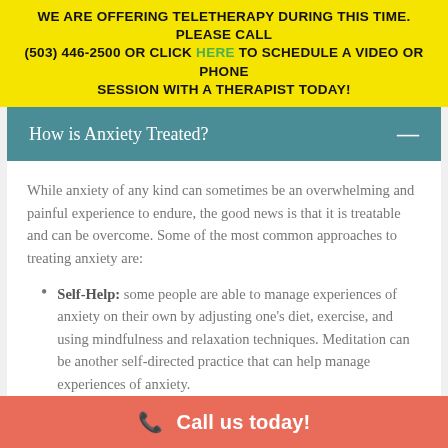WE ARE OFFERING TELETHERAPY DURING THIS TIME. PLEASE CALL (503) 446-2500 OR CLICK HERE TO SCHEDULE A VIDEO OR PHONE SESSION WITH A THERAPIST TODAY!
How is Anxiety Treated?
While anxiety of any kind can sometimes be an overwhelming and painful experience to endure, the good news is that it is treatable and can be overcome. Some of the most common approaches to treating anxiety are:
Self-Help: some people are able to manage experiences of anxiety on their own by adjusting one's diet, exercise, and using mindfulness and relaxation techniques. Meditation can be another self-directed practice that can help manage experiences of anxiety.
Medication Management: a doctor can
Call us today!